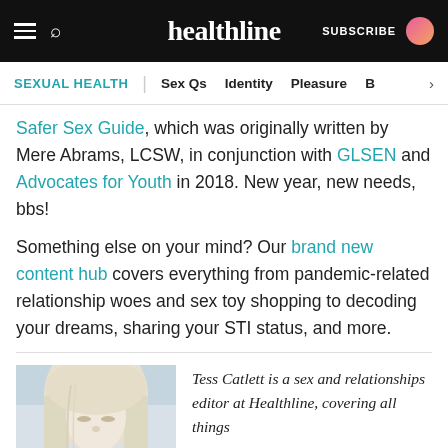healthline — SUBSCRIBE
SEXUAL HEALTH | Sex Qs  Identity  Pleasure  B >
Safer Sex Guide, which was originally written by Mere Abrams, LCSW, in conjunction with GLSEN and Advocates for Youth in 2018. New year, new needs, bbs!
Something else on your mind? Our brand new content hub covers everything from pandemic-related relationship woes and sex toy shopping to decoding your dreams, sharing your STI status, and more.
Tess Catlett is a sex and relationships editor at Healthline, covering all things